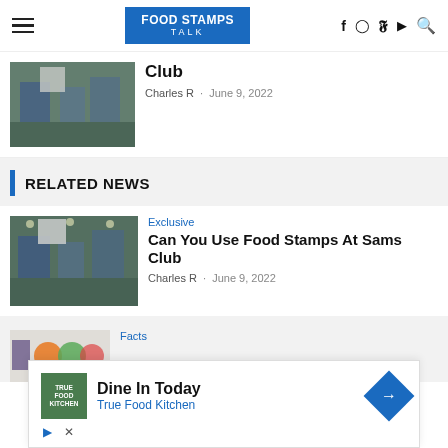FOOD STAMPS TALK — navigation header with social icons
Club
Charles R · June 9, 2022
RELATED NEWS
Exclusive
Can You Use Food Stamps At Sams Club
Charles R · June 9, 2022
Facts
Dine In Today
True Food Kitchen